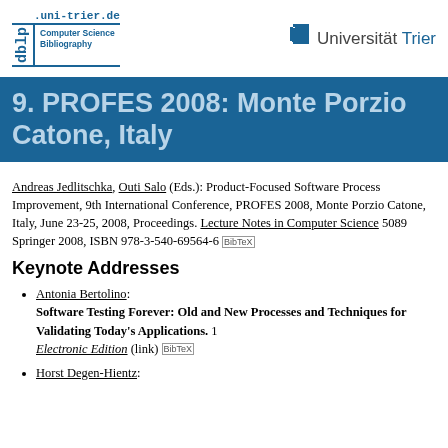dblp.uni-trier.de Computer Science Bibliography | Universität Trier
9. PROFES 2008: Monte Porzio Catone, Italy
Andreas Jedlitschka, Outi Salo (Eds.): Product-Focused Software Process Improvement, 9th International Conference, PROFES 2008, Monte Porzio Catone, Italy, June 23-25, 2008, Proceedings. Lecture Notes in Computer Science 5089 Springer 2008, ISBN 978-3-540-69564-6 BibTeX
Keynote Addresses
Antonia Bertolino: Software Testing Forever: Old and New Processes and Techniques for Validating Today's Applications. 1 Electronic Edition (link) BibTeX
Horst Degen-Hientz: